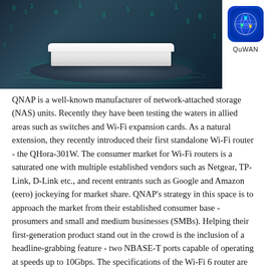[Figure (photo): A white QNAP QHora-301W Wi-Fi router sitting on a futuristic glowing circular platform against a dark teal digital background with matrix-like green characters. A QuWAN app icon (blue globe with location pins) is shown in the upper right corner.]
QNAP is a well-known manufacturer of network-attached storage (NAS) units. Recently they have been testing the waters in allied areas such as switches and Wi-Fi expansion cards. As a natural extension, they recently introduced their first standalone Wi-Fi router - the QHora-301W. The consumer market for Wi-Fi routers is a saturated one with multiple established vendors such as Netgear, TP-Link, D-Link etc., and recent entrants such as Google and Amazon (eero) jockeying for market share. QNAP's strategy in this space is to approach the market from their established consumer base - prosumers and small and medium businesses (SMBs). Helping their first-generation product stand out in the crowd is the inclusion of a headline-grabbing feature - two NBASE-T ports capable of operating at speeds up to 10Gbps. The specifications of the Wi-Fi 6 router are summarized in the table below, followed by an overview of the various hardware features of